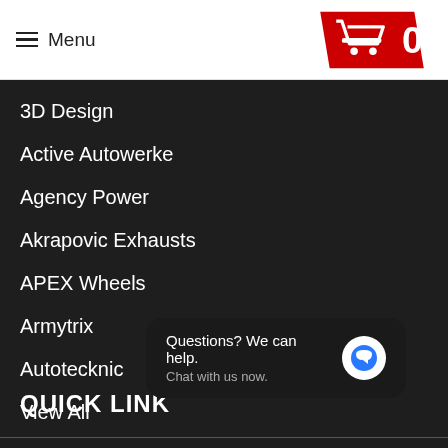Menu | 0
3D Design
Active Autowerke
Agency Power
Akrapovic Exhausts
APEX Wheels
Armytrix
Autotecknic
View All
QUICK LINK
Questions? We can help. Chat with us now.